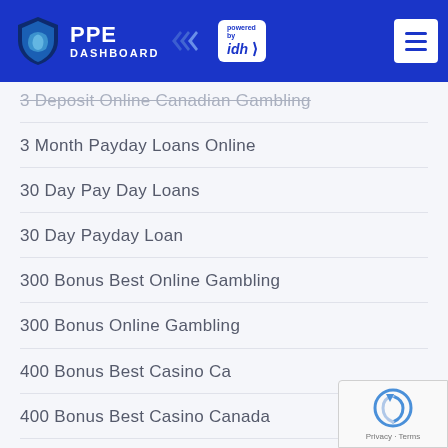[Figure (logo): PPE Dashboard logo with shield icon and 'powered by idh' badge, blue header bar with hamburger menu button]
3 Deposit Online Canadian Gambling
3 Month Payday Loans Online
30 Day Pay Day Loans
30 Day Payday Loan
300 Bonus Best Online Gambling
300 Bonus Online Gambling
400 Bonus Best Casino Ca
400 Bonus Best Casino Canada
400 Bonus Online Casino
[Figure (logo): reCAPTCHA badge with Google reCAPTCHA logo and Privacy - Terms text]